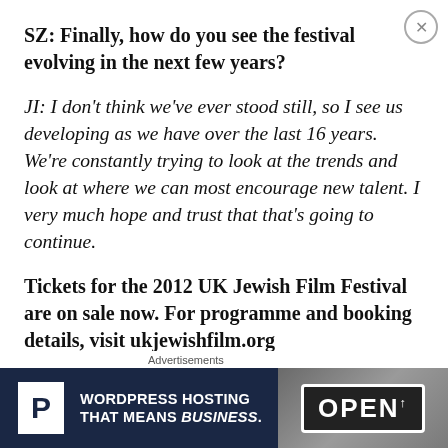SZ: Finally, how do you see the festival evolving in the next few years?
JI: I don't think we've ever stood still, so I see us developing as we have over the last 16 years. We're constantly trying to look at the trends and look at where we can most encourage new talent. I very much hope and trust that that's going to continue.
Tickets for the 2012 UK Jewish Film Festival are on sale now. For programme and booking details, visit ukjewishfilm.org
[Figure (screenshot): Advertisement banner for WordPress Hosting with Pressjockey. Dark navy background with P logo, text 'WORDPRESS HOSTING THAT MEANS BUSINESS.' and an OPEN sign photo on the right.]